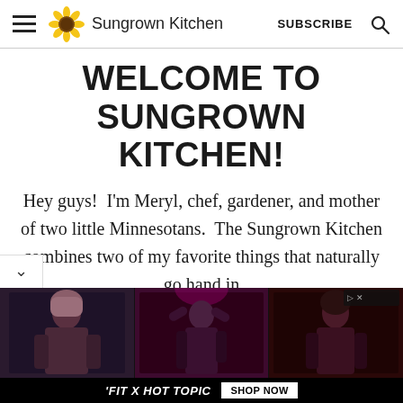Sungrown Kitchen  SUBSCRIBE
WELCOME TO SUNGROWN KITCHEN!
Hey guys!  I'm Meryl, chef, gardener, and mother of two little Minnesotans.  The Sungrown Kitchen combines two of my favorite things that naturally go hand in
[Figure (screenshot): Advertisement banner for 'FIT X HOT TOPIC' showing three people in dark clothing with a 'SHOP NOW' button]